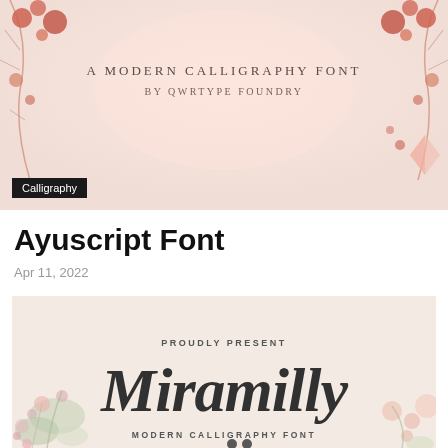[Figure (illustration): Top banner image with floral watercolor decoration, pink/peach background with dried flower branches on left and right corners. Center text reads 'A MODERN CALLIGRAPHY FONT BY QWRTYPE FOUNDRY' in serif spaced lettering. Black tag label 'Calligraphy' in bottom left corner.]
Ayuscript Font
Apr 11, 2022
[Figure (illustration): Font showcase card with cream/beige background, floral watercolor decoration on edges. Text 'PROUDLY PRESENT' in small spaced caps, large calligraphy script text 'Miramilly' in bold brush lettering, subtitle 'MODERN CALLIGRAPHY FONT' in small spaced caps.]